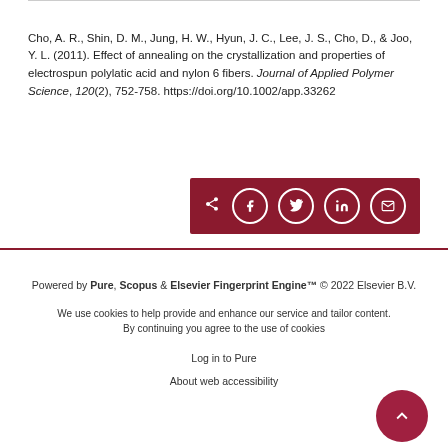Cho, A. R., Shin, D. M., Jung, H. W., Hyun, J. C., Lee, J. S., Cho, D., & Joo, Y. L. (2011). Effect of annealing on the crystallization and properties of electrospun polylatic acid and nylon 6 fibers. Journal of Applied Polymer Science, 120(2), 752-758. https://doi.org/10.1002/app.33262
[Figure (other): Social share bar with share, Facebook, Twitter, LinkedIn, and email icons on dark red background]
Powered by Pure, Scopus & Elsevier Fingerprint Engine™ © 2022 Elsevier B.V.
We use cookies to help provide and enhance our service and tailor content. By continuing you agree to the use of cookies
Log in to Pure
About web accessibility